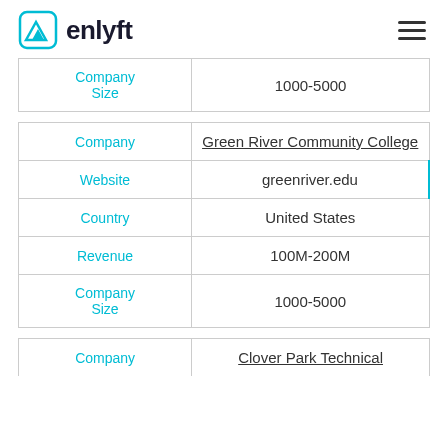enlyft
| Company Size | 1000-5000 |
| --- | --- |
| Company Size | 1000-5000 |
| Company | Website | Country | Revenue | Company Size |
| --- | --- | --- | --- | --- |
| Company | Green River Community College |
| Website | greenriver.edu |
| Country | United States |
| Revenue | 100M-200M |
| Company Size | 1000-5000 |
| Company |
| --- |
| Company | Clover Park Technical |